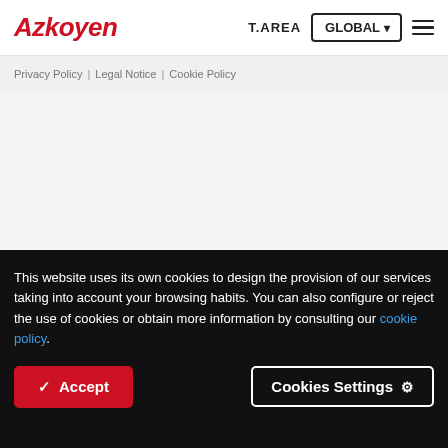Azkoyen | T.AREA | GLOBAL | (menu)
Privacy Policy | Legal Notice | Cookie Policy
[Figure (logo): Nafarroako Gobernua / Gobierno de Navarra logo with red crown/shield emblem]
This website uses its own cookies to design the provision of our services taking into account your browsing habits. You can also configure or reject the use of cookies or obtain more information by consulting our cookie policy.
Accept | Cookies Settings